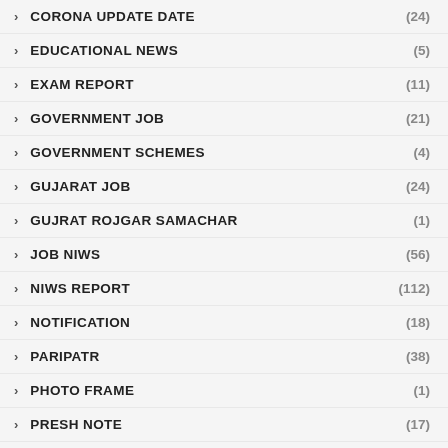CORONA UPDATE DATE (24)
EDUCATIONAL NEWS (5)
EXAM REPORT (11)
GOVERNMENT JOB (21)
GOVERNMENT SCHEMES (4)
GUJARAT JOB (24)
GUJRAT ROJGAR SAMACHAR (1)
JOB NIWS (56)
NIWS REPORT (112)
NOTIFICATION (18)
PARIPATR (38)
PHOTO FRAME (1)
PRESH NOTE (17)
ROJGAR SAMACHAR (3)